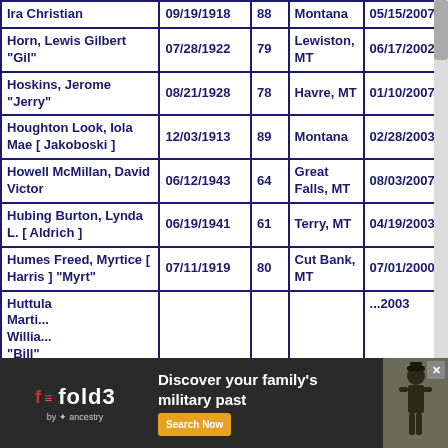| Name | Date of Birth | Age | Location | Date of Death |
| --- | --- | --- | --- | --- |
| Ira Christian | 09/19/1918 | 88 | Montana | 05/15/2007 |
| Horn, Lewis Gilbert "Gil" | 07/28/1922 | 79 | Lewiston, MT | 06/17/2002 |
| Hoskins, Jerome "Jerry" | 08/21/1928 | 78 | Havre, MT | 01/10/2007 |
| Houghton Look, Iola Mae [ Jakoboski ] | 12/03/1913 | 89 | Montana | 02/28/2003 |
| Howell McMillan, David Victor | 06/12/1943 | 64 | Great Falls, MT | 08/03/2007 |
| Hubing Burton, Lynda L. [ Aldrich ] | 06/19/1941 | 61 | Terry, MT | 04/19/2003 |
| Humes Freed, Myrtice [ Harris ] "Myrt" | 07/11/1919 | 80 | Cut Bank, MT | 07/01/2000 |
| Huttula Martin, William "Bill" |  |  |  | 2003 |
[Figure (advertisement): Fold3 by Ancestry advertisement: Discover your family's military past, with Search Now button and soldier image]